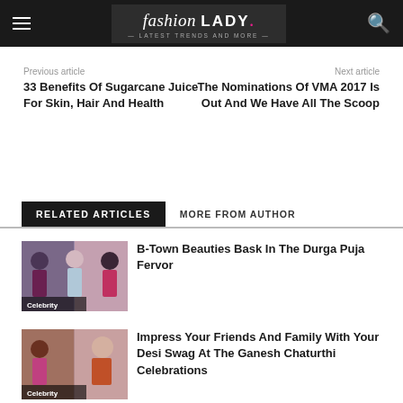fashion LADY · Latest Trends and More
Previous article
33 Benefits Of Sugarcane Juice For Skin, Hair And Health
Next article
The Nominations Of VMA 2017 Is Out And We Have All The Scoop
RELATED ARTICLES   MORE FROM AUTHOR
[Figure (photo): Collage of Bollywood celebrity women in traditional attire for Durga Puja, labeled Celebrity]
B-Town Beauties Bask In The Durga Puja Fervor
[Figure (photo): Collage of women in traditional Indian clothes for Ganesh Chaturthi, labeled Celebrity]
Impress Your Friends And Family With Your Desi Swag At The Ganesh Chaturthi Celebrations